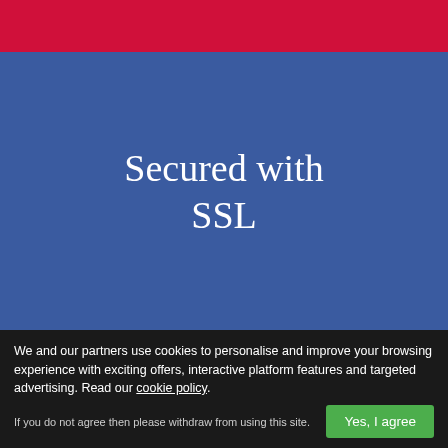[Figure (other): Red banner at the top of the page]
Secured with SSL
[Figure (illustration): Red background section with a white smartphone icon outline and partially visible text 'Dating on your Mobile' in red/white]
We and our partners use cookies to personalise and improve your browsing experience with exciting offers, interactive platform features and targeted advertising. Read our cookie policy.
If you do not agree then please withdraw from using this site.
Yes, I agree